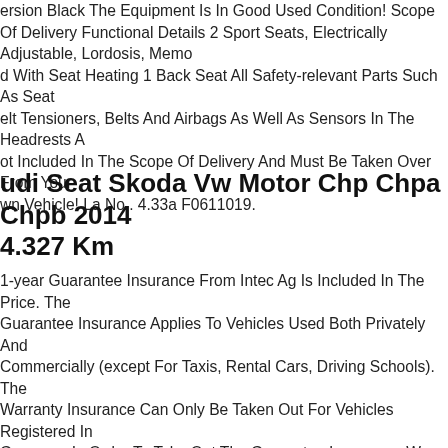ersion Black The Equipment Is In Good Used Condition! Scope Of Delivery Functional Details 2 Sport Seats, Electrically Adjustable, Lordosis, Memory And With Seat Heating 1 Back Seat All Safety-relevant Parts Such As Seat Belt Tensioners, Belts And Airbags As Well As Sensors In The Headrests Are Not Included In The Scope Of Delivery And Must Be Taken Over From Your Own Vehicle! La No . 4.33a F0611019.
Audi Seat Skoda Vw Motor Chp Chpa Chpb 2014 4.327 Km
1-year Guarantee Insurance From Intec Ag Is Included In The Price. The Guarantee Insurance Applies To Vehicles Used Both Privately And Commercially (except For Taxis, Rental Cars, Driving Schools). The Warranty Insurance Can Only Be Taken Out For Vehicles Registered In Germany. In Order To Take Out The Guarantee Insurance, We Need Your Vehicle Registration Document And The Mileage Of Your Vehicle. You Will Receive The Insurance Documents And Guarantee Conditions By Email. Since We Also Offer Our Spare Parts On Other Portals, We Expressly Reserve The Right To Prior Sale. Please Ask For Availability Before Purchasing. After The Purchase, Please Use The Ebay Checkout Process